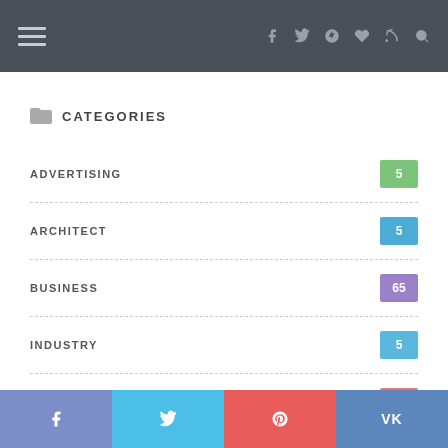Navigation header with hamburger menu and social icons
CATEGORIES
ADVERTISING 5
ARCHITECT 5
BUSINESS 65
INDUSTRY 5
MANAGEMENT 5
MARKETING 7
NEWS 4
Social share bar: f, t (twitter), p (pinterest), VK